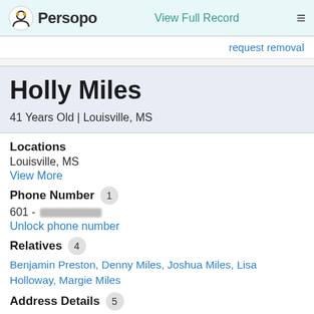Persopo | View Full Record
request removal
Holly Miles
41 Years Old | Louisville, MS
Locations
Louisville, MS
View More
Phone Number 1
601 - [redacted]
Unlock phone number
Relatives 4
Benjamin Preston, Denny Miles, Joshua Miles, Lisa Holloway, Margie Miles
Address Details 5